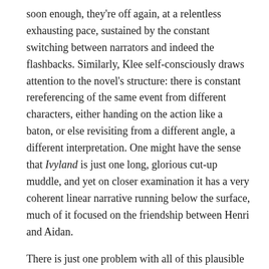soon enough, they're off again, at a relentless exhausting pace, sustained by the constant switching between narrators and indeed the flashbacks. Similarly, Klee self-consciously draws attention to the novel's structure: there is constant rereferencing of the same event from different characters, either handing on the action like a baton, or else revisiting from a different angle, a different interpretation. One might have the sense that Ivyland is just one long, glorious cut-up muddle, and yet on closer examination it has a very coherent linear narrative running below the surface, much of it focused on the friendship between Henri and Aidan.
There is just one problem with all of this plausible analysis, and that's Cal, Aidan's brother, an astronaut, currently in space and on his way to certain death. Suppose, just suppose that none of this is anything more than Cal's fevered imaginings as he waits for the inevitable end. But isn't that in itself another narrative convention? And that, to my mind, is the joy of this novel; it simply can't and won't settle. It advertises its